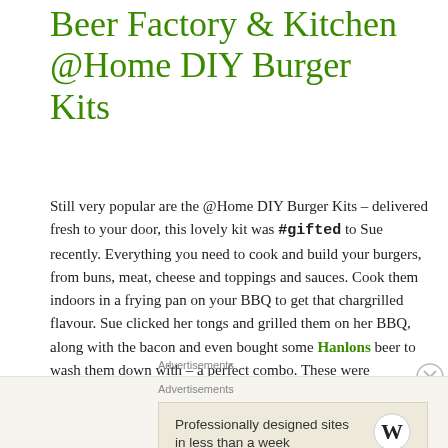Beer Factory & Kitchen @Home DIY Burger Kits
Still very popular are the @Home DIY Burger Kits – delivered fresh to your door, this lovely kit was #gifted to Sue recently. Everything you need to cook and build your burgers, from buns, meat, cheese and toppings and sauces. Cook them indoors in a frying pan on your BBQ to get that chargrilled flavour. Sue clicked her tongs and grilled them on her BBQ, along with the bacon and even bought some Hanlons beer to wash them down with – a perfect combo. These were particularly good burgers and great fun to bbq – and eat!
Advertisements
Advertisements
Professionally designed sites in less than a week